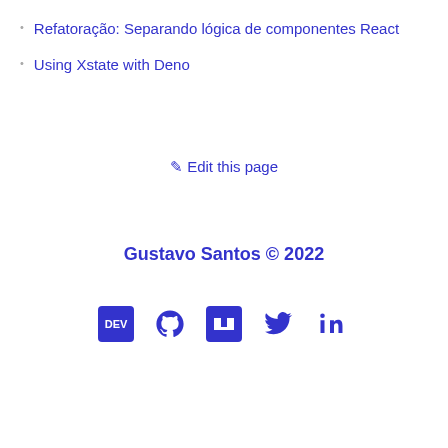Refatoração: Separando lógica de componentes React
Using Xstate with Deno
✎ Edit this page
Gustavo Santos © 2022
[Figure (other): Social media icons: DEV, GitHub, npm, Twitter, LinkedIn]